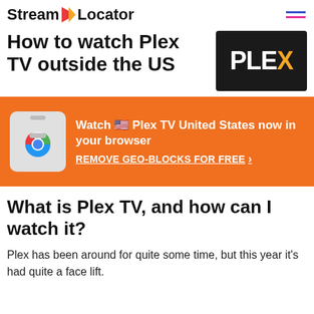Stream Locator
How to watch Plex TV outside the US
[Figure (logo): PLEX logo in white text on black background with yellow X]
[Figure (infographic): Orange banner with Chrome extension icon. Text: Watch Plex TV United States now in your browser. REMOVE GEO-BLOCKS FOR FREE >]
What is Plex TV, and how can I watch it?
Plex has been around for quite some time, but this year it’s had quite a face lift.